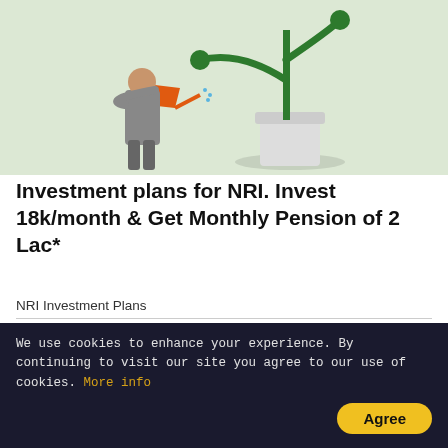[Figure (illustration): Illustration of a businessman in grey suit watering a large green plant/cactus in a white pot, on a light green background.]
Investment plans for NRI. Invest 18k/month & Get Monthly Pension of 2 Lac*
NRI Investment Plans
[Figure (infographic): PolicyBazaar advertisement banner. Top bar: 'Investment Plans for NRI's'. Body shows 'Get upto 17% Returns*' in large white text with a bar/line chart in background and a man in suit holding a phone pointing to the offer. PolicyBazaar logo top right. Partially visible button at bottom.]
10 Absolutely Stunni
We use cookies to enhance your experience. By continuing to visit our site you agree to our use of cookies. More info